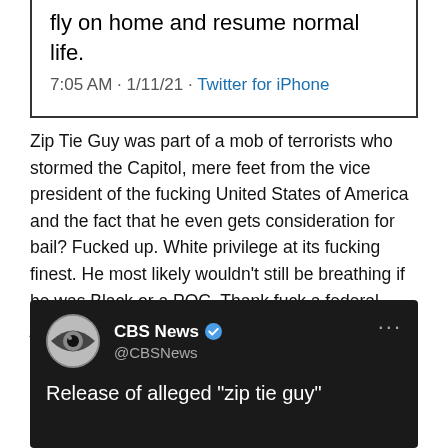[Figure (screenshot): Top portion of a tweet screenshot showing text: 'work, go do an insurrection, and then fly on home and resume normal life.' with timestamp '7:05 AM · 1/11/21 · Twitter for iPhone']
Zip Tie Guy was part of a mob of terrorists who stormed the Capitol, mere feet from the vice president of the fucking United States of America and the fact that he even gets consideration for bail? Fucked up. White privilege at its fucking finest. He most likely wouldn't still be breathing if he was Black or a POC. Thank fuck a federal judge stepped in late Sunday and blocked his release on bail.
[Figure (screenshot): CBS News tweet screenshot on dark background showing CBS News @CBSNews handle with verified badge and beginning of headline 'Release of alleged "zip tie guy"']